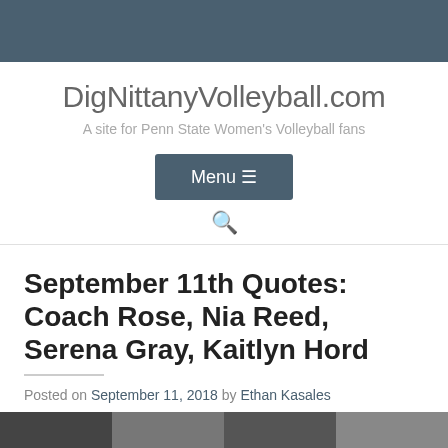DigNittanyVolleyball.com
A site for Penn State Women's Volleyball fans
Menu
September 11th Quotes: Coach Rose, Nia Reed, Serena Gray, Kaitlyn Hord
Posted on September 11, 2018 by Ethan Kasales
[Figure (photo): Partial photo strip at bottom of page]